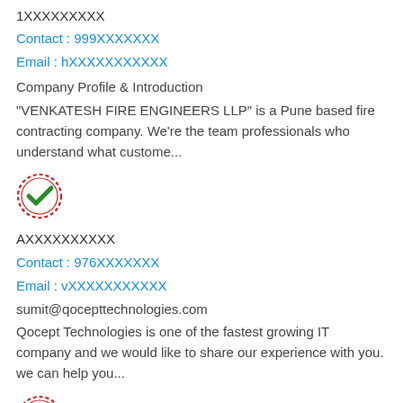1XXXXXXXXX
Contact : 999XXXXXXX
Email : hXXXXXXXXXXX
Company Profile & Introduction
"VENKATESH FIRE ENGINEERS LLP" is a Pune based fire contracting company. We're the team professionals who understand what custome...
[Figure (illustration): Green checkmark stamp / verified seal icon]
AXXXXXXXXXX
Contact : 976XXXXXXX
Email : vXXXXXXXXXXX
sumit@qocepttechnologies.com
Qocept Technologies is one of the fastest growing IT company and we would like to share our experience with you. we can help you...
[Figure (illustration): Green checkmark stamp / verified seal icon]
QXXXXXXXXXX
Contact : 635XXXXXXX